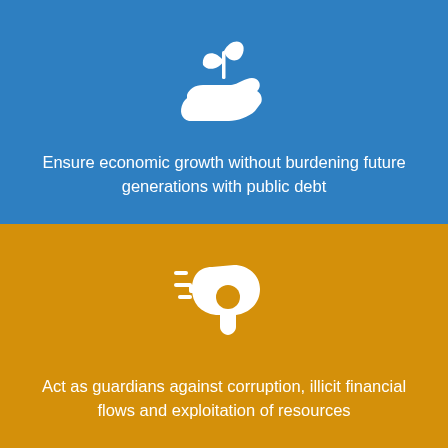[Figure (illustration): White icon of a hand holding a plant/seedling with a leaf, on blue background]
Ensure economic growth without burdening future generations with public debt
[Figure (illustration): White icon of a whistle with motion lines indicating blowing, on gold/amber background]
Act as guardians against corruption, illicit financial flows and exploitation of resources